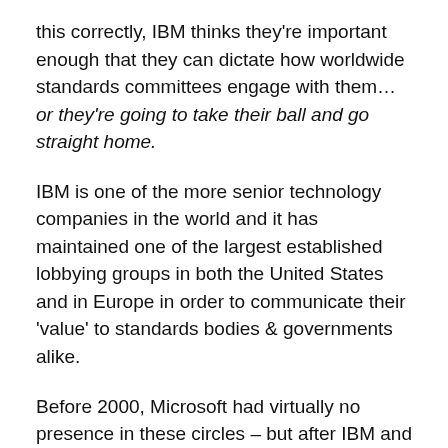this correctly, IBM thinks they're important enough that they can dictate how worldwide standards committees engage with them… or they're going to take their ball and go straight home.
IBM is one of the more senior technology companies in the world and it has maintained one of the largest established lobbying groups in both the United States and in Europe in order to communicate their 'value' to standards bodies & governments alike.
Before 2000, Microsoft had virtually no presence in these circles – but after IBM and others like them testified against them in antitrust hearings, after having been locked out of opportunities on the basis of international "standards" created based on influence by IBM, they discovered how important involvement in the political &